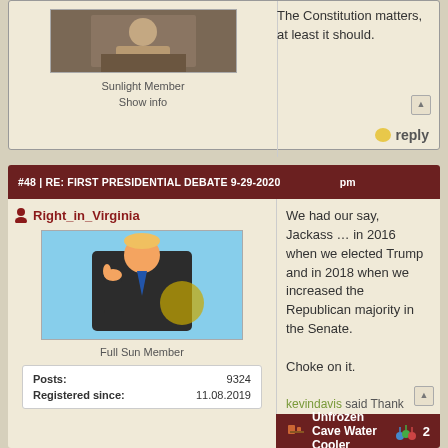The Constitution matters, at least it should.
Sunlight Member
Show info
#48 | RE: FIRST PRESIDENTIAL DEBATE 9-29-2020
Right_in_Virginia
[Figure (photo): Profile photo of Donald Trump giving thumbs up in front of Air Force One]
Full Sun Member
| Posts: | 9324 |
| --- | --- |
| Registered since: | 11.08.2019 |
We had our say, Jackass … in 2016 when we elected Trump and in 2018 when we increased the Republican majority in the Senate.

Choke on it.
kevindavis said Thank You!
Unfrozen Cave Water Cooler  2